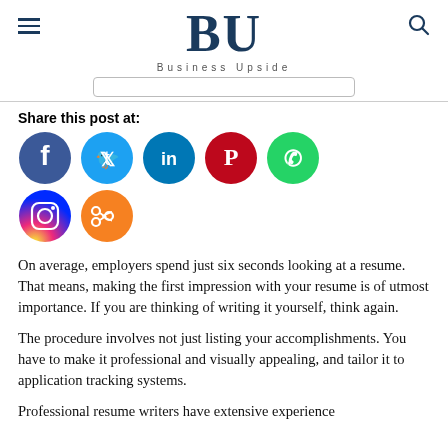BU — Business Upside
[Figure (logo): Social media sharing icons: Facebook, Twitter, LinkedIn, Pinterest, WhatsApp, Instagram, Share]
Share this post at:
On average, employers spend just six seconds looking at a resume. That means, making the first impression with your resume is of utmost importance. If you are thinking of writing it yourself, think again.
The procedure involves not just listing your accomplishments. You have to make it professional and visually appealing, and tailor it to application tracking systems.
Professional resume writers have extensive experience in...